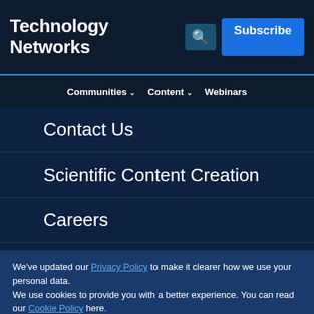Technology Networks
Contact Us
Scientific Content Creation
Careers
Editorial Policies
We've updated our Privacy Policy to make it clearer how we use your personal data.
We use cookies to provide you with a better experience. You can read our Cookie Policy here.
I Understand
Advertisement
[Figure (other): SinoBiological advertisement banner: IL-7: A Modulator of T and B Cell Development. Learn More button.]